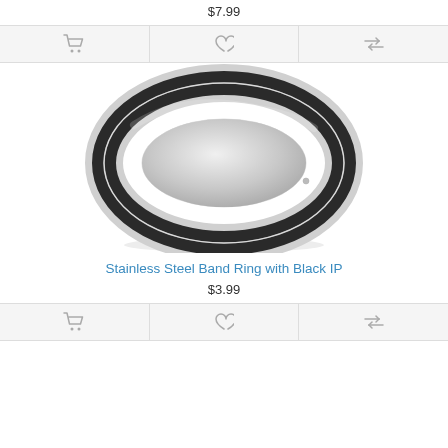$7.99
[Figure (other): Action bar with cart icon, heart icon, and compare icon on gray background]
[Figure (photo): Stainless steel band ring with black IP coating — silver ring with wide black center band, shown at an angle]
Stainless Steel Band Ring with Black IP
$3.99
[Figure (other): Action bar with cart icon, heart icon, and compare icon on gray background]